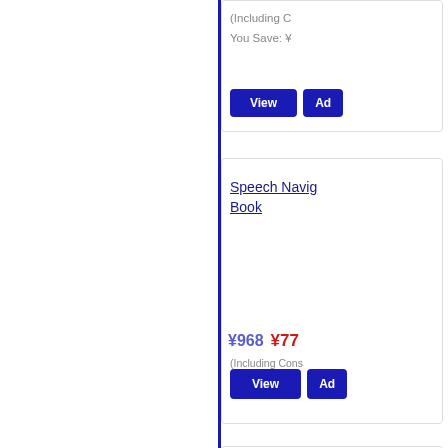(Including C...
You Save: ¥ ...
View  Ad...
Speech Navig...
Book
¥968  ¥77...
(Including Cons...
You Save: ¥ 19...
View  Ad...
Time Zones 2...
Starter | Stud...
+ Workbook (…